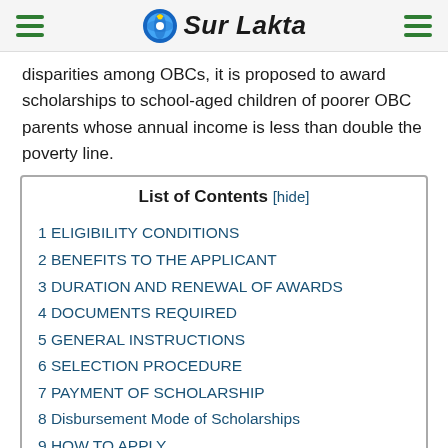Sur Lakta
disparities among OBCs, it is proposed to award scholarships to school-aged children of poorer OBC parents whose annual income is less than double the poverty line.
1 ELIGIBILITY CONDITIONS
2 BENEFITS TO THE APPLICANT
3 DURATION AND RENEWAL OF AWARDS
4 DOCUMENTS REQUIRED
5 GENERAL INSTRUCTIONS
6 SELECTION PROCEDURE
7 PAYMENT OF SCHOLARSHIP
8 Disbursement Mode of Scholarships
9 HOW TO APPLY
10 Important Dates & Links
11 FAQ (FREQUENTLY ASKED QUESTIONS)